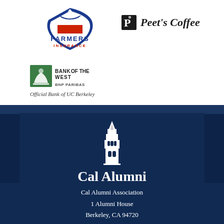[Figure (logo): Farmers Insurance logo with shield emblem and blue text FARMERS and red text INSURANCE]
[Figure (logo): Peet's Coffee logo with stylized P icon and Peet's Coffee text]
[Figure (logo): Bank of the West BNP Paribas logo with green square icon and text, below: Official Bank of UC Berkeley in italic]
[Figure (logo): Cal Alumni Association UC Berkeley logo with Campanile tower illustration and white text on dark blue background]
Cal Alumni Association
1 Alumni House
Berkeley, CA 94720